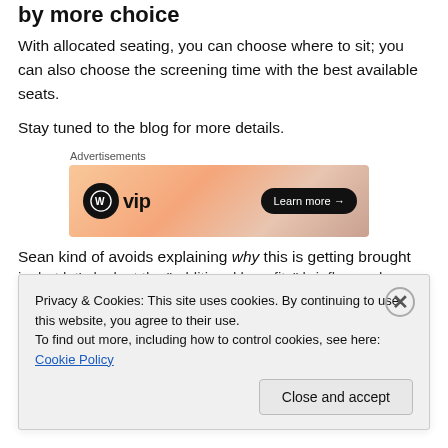by more choice
With allocated seating, you can choose where to sit; you can also choose the screening time with the best available seats.
Stay tuned to the blog for more details.
[Figure (other): WordPress VIP advertisement banner with 'Learn more →' button on an orange gradient background]
Sean kind of avoids explaining why this is getting brought in, but let's look at the "additional benefits" briefly, one by
Privacy & Cookies: This site uses cookies. By continuing to use this website, you agree to their use.
To find out more, including how to control cookies, see here: Cookie Policy
Close and accept